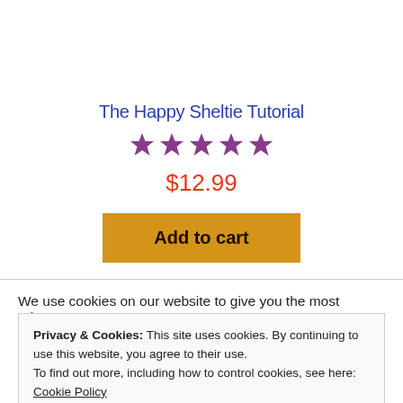The Happy Sheltie Tutorial
[Figure (other): 5 purple filled stars rating]
$12.99
Add to cart
We use cookies on our website to give you the most relevant
Privacy & Cookies: This site uses cookies. By continuing to use this website, you agree to their use.
To find out more, including how to control cookies, see here: Cookie Policy
Close and accept